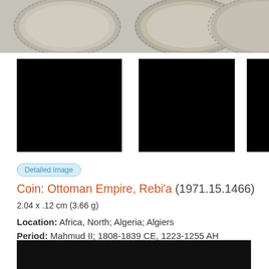[Figure (photo): Three silver Ottoman coins shown at top, partial view — coin surfaces visible with decorative beaded edges]
[Figure (photo): Three black-box redacted/obscured coin detail images, side by side]
Detailed Image
Coin: Ottoman Empire, Rebi'a (1971.15.1466)
2.04 x .12 cm (3.66 g)
Location: Africa, North; Algeria; Algiers
Period: Mahmud II; 1808-1839 CE, 1223-1255 AH
Classification/Nomenclature: Communication Artifacts : Exchange Media
[Figure (photo): Two silver Ottoman coins photographed on black background, showing both obverse sides with Arabic calligraphic inscriptions and floral/foliate border decoration]